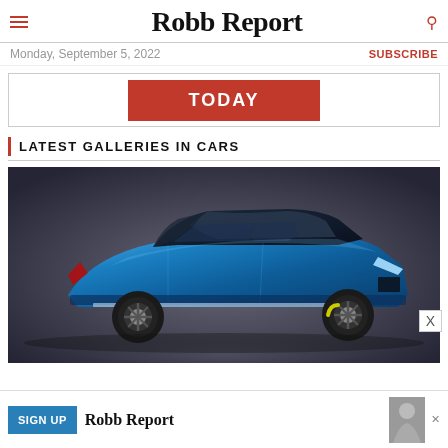Robb Report
Monday, September 5, 2022
SUBSCRIBE
[Figure (other): Red button/banner with text TODAY]
LATEST GALLERIES IN CARS
[Figure (photo): Blue luxury SUV concept car on grey studio background]
[Figure (other): Advertisement banner with SIGN UP button and Robb Report branding]